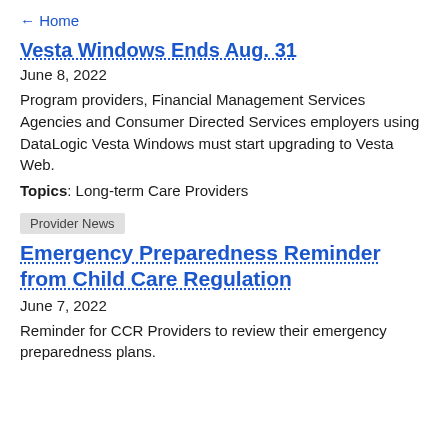← Home
Vesta Windows Ends Aug. 31
June 8, 2022
Program providers, Financial Management Services Agencies and Consumer Directed Services employers using DataLogic Vesta Windows must start upgrading to Vesta Web.
Topics: Long-term Care Providers
Provider News
Emergency Preparedness Reminder from Child Care Regulation
June 7, 2022
Reminder for CCR Providers to review their emergency preparedness plans.